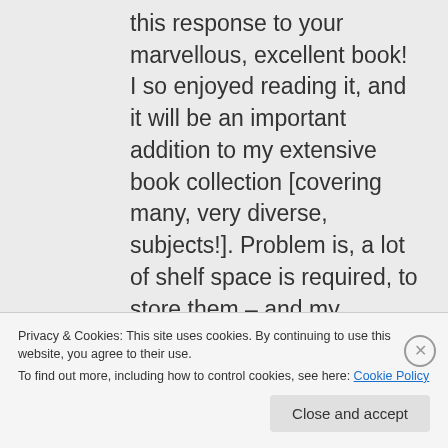this response to your marvellous, excellent book! I so enjoyed reading it, and it will be an important addition to my extensive book collection [covering many, very diverse, subjects!]. Problem is, a lot of shelf space is required, to store them – and my husband and I will, in a couple of years' time, be moving to the Shetland Isles of Scotland!! A very different
Privacy & Cookies: This site uses cookies. By continuing to use this website, you agree to their use.
To find out more, including how to control cookies, see here: Cookie Policy